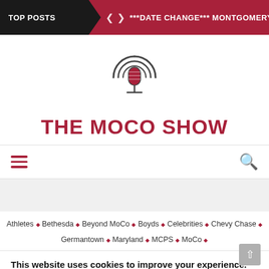TOP POSTS  ***DATE CHANGE*** MONTGOMERY COUNT
[Figure (logo): The MoCo Show podcast microphone logo with circular design]
THE MOCO SHOW
≡  🔍
Athletes ◇ Bethesda ◇ Beyond MoCo ◇ Boyds ◇ Celebrities ◇ Chevy Chase ◇ Germantown ◇ Maryland ◇ MCPS ◇ MoCo ◇
This website uses cookies to improve your experience. We'll assume you're ok with this, but you can opt-out if you wish. Accept
Read More